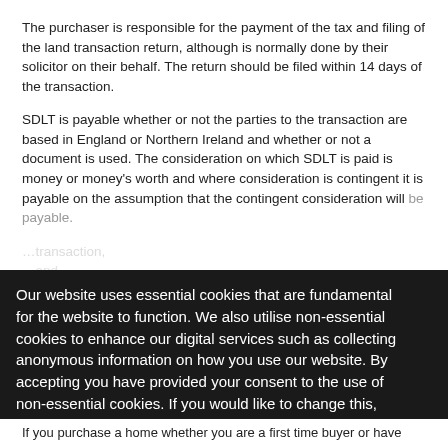The purchaser is responsible for the payment of the tax and filing of the land transaction return, although is normally done by their solicitor on their behalf. The return should be filed within 14 days of the transaction.
SDLT is payable whether or not the parties to the transaction are based in England or Northern Ireland and whether or not a document is used. The consideration on which SDLT is paid is money or money's worth and where consideration is contingent it is payable on the assumption that the contingent consideration will be payable.
Our website uses essential cookies that are fundamental for the website to function. We also utilise non-essential cookies to enhance our digital services such as collecting anonymous information on how you use our website. By accepting you have provided your consent to the use of non-essential cookies. If you would like to change this, please click on 'Change cookie settings'.
Accept & Close
Change cookie settings
If you purchase a home whether you are a first time buyer or have